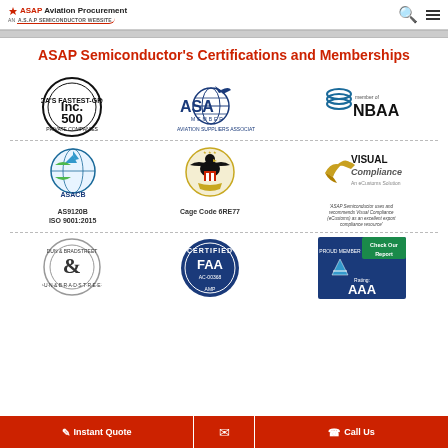ASAP Aviation Procurement — An A.S.A.P. Semiconductor Website
ASAP Semiconductor's Certifications and Memberships
[Figure (logo): Inc 500 America's Fastest-Growing Private Companies badge]
[Figure (logo): ASA Member - Aviation Suppliers Association logo]
[Figure (logo): Member of NBAA logo]
[Figure (logo): ASACB AS9120B ISO 9001:2015 certification logo]
AS9120B
ISO 9001:2015
[Figure (logo): US Government Eagle seal - Cage Code 6RE77]
Cage Code 6RE77
[Figure (logo): Visual Compliance - An eCustoms Solution logo]
'ASAP Semiconductor uses and recommends Visual Compliance (eCustoms) as an excellent export compliance resource'
[Figure (logo): Dun & Bradstreet D&B logo]
[Figure (logo): FAA Certified AC-00368 badge]
[Figure (logo): Proud Member AAA Rating - Check Our Report badge]